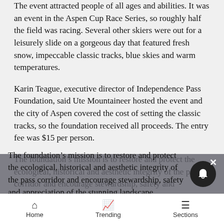The event attracted people of all ages and abilities. It was an event in the Aspen Cup Race Series, so roughly half the field was racing. Several other skiers were out for a leisurely slide on a gorgeous day that featured fresh snow, impeccable classic tracks, blue skies and warm temperatures.
Karin Teague, executive director of Independence Pass Foundation, said Ute Mountaineer hosted the event and the city of Aspen covered the cost of setting the classic tracks, so the foundation received all proceeds. The entry fee was $15 per person.
The foundation's mission is to restore and protect the ecological, historical and aesthetic integrity of the pass corridor and encourage stewardship, safety and appreciation of the stunning landscape.
Home  Trending  Sections